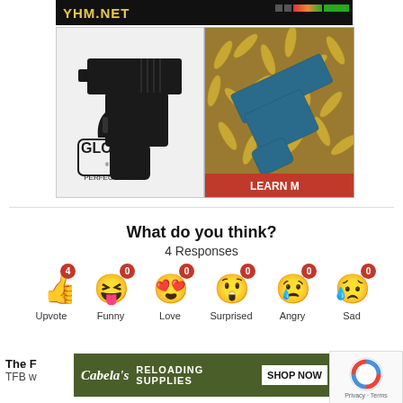[Figure (photo): YHM.NET advertisement banner with yellow text on black background and colored bar graph on right]
[Figure (photo): Glock Perfection handgun advertisement on white background with Glock logo]
[Figure (photo): Blue firearm on pile of ammunition brass casings with LEARN MORE text]
What do you think?
4 Responses
[Figure (infographic): Reaction emoji row: Upvote (4), Funny (0), Love (0), Surprised (0), Angry (0), Sad (0)]
[Figure (photo): Cabelas Reloading Supplies advertisement banner with SHOP NOW button]
The F
TFB w